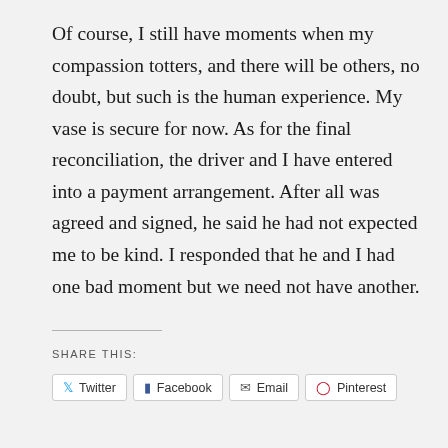Of course, I still have moments when my compassion totters, and there will be others, no doubt, but such is the human experience. My vase is secure for now. As for the final reconciliation, the driver and I have entered into a payment arrangement. After all was agreed and signed, he said he had not expected me to be kind. I responded that he and I had one bad moment but we need not have another.
SHARE THIS:
Twitter | Facebook | Email | Pinterest